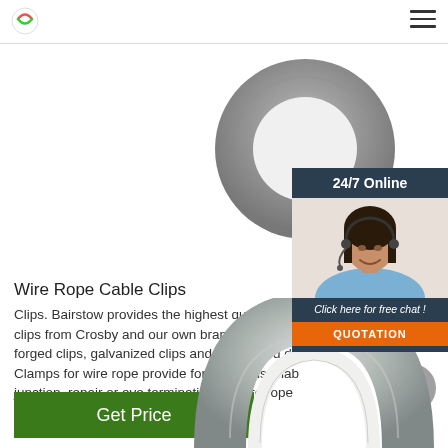Logo and navigation header
[Figure (photo): Metal ring/thimble hardware component, top portion of product image]
[Figure (photo): Customer service representative with headset, 24/7 online chat widget with quotation button]
Wire Rope Cable Clips
Clips. Bairstow provides the highest quality wire clips from Crosby and our own brand clips. We h forged clips, galvanized clips and galvanized dro Clamps for wire rope provide for a field installab junction, repair or eye termination for wire rope
[Figure (illustration): Get Price green button]
[Figure (photo): Bottom thimble/horseshoe shaped galvanized metal hardware component]